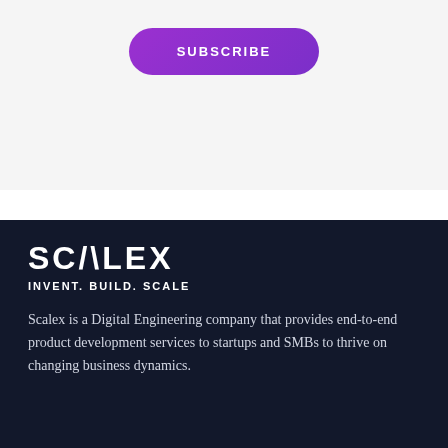[Figure (other): Purple Subscribe button with rounded pill shape on light gray background]
[Figure (logo): SCALEX logo in white bold font on dark navy background]
INVENT. BUILD. SCALE
Scalex is a Digital Engineering company that provides end-to-end product development services to startups and SMBs to thrive on changing business dynamics.
Company